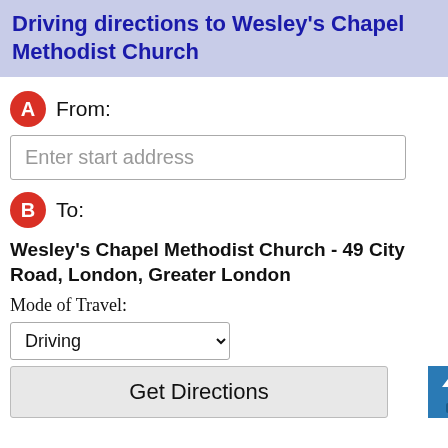Driving directions to Wesley's Chapel Methodist Church
From:
Enter start address
To:
Wesley's Chapel Methodist Church - 49 City Road, London, Greater London
Mode of Travel:
Driving
Get Directions